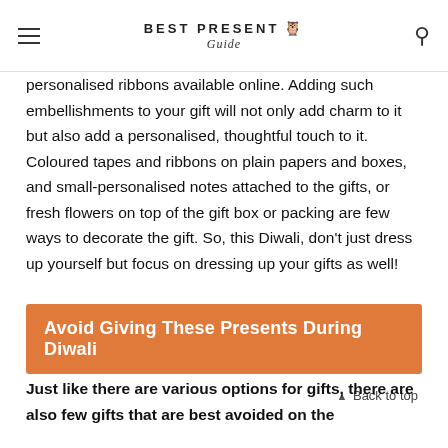BEST PRESENT Guide
personalised ribbons available online. Adding such embellishments to your gift will not only add charm to it but also add a personalised, thoughtful touch to it. Coloured tapes and ribbons on plain papers and boxes, and small-personalised notes attached to the gifts, or fresh flowers on top of the gift box or packing are few ways to decorate the gift. So, this Diwali, don't just dress up yourself but focus on dressing up your gifts as well!
▲ Back to top
Avoid Giving These Presents During Diwali
Just like there are various options for gifts, there are also few gifts that are best avoided on the